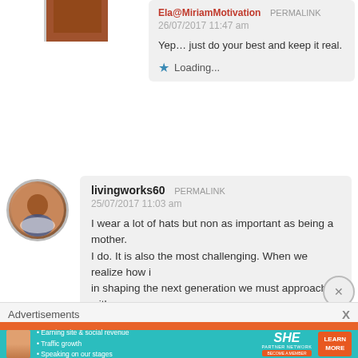[Figure (photo): Avatar image of a building/door in brown tones, partially visible at top]
Ela@MiriamMotivation PERMALINK
26/07/2017 11:47 am
Yep… just do your best and keep it real.
Loading...
[Figure (photo): Avatar of a woman with a round photo border]
livingworks60 PERMALINK
25/07/2017 11:03 am
I wear a lot of hats but non as important as being a mother. I do. It is also the most challenging. When we realize how in shaping the next generation we must approach it with pra have to be ever so mindful of the words that we speak and t
Loading...
Advertisements X
[Figure (infographic): SHE Partner Network ad banner on teal background with woman photo, bullet points about earning site & social revenue, traffic growth, speaking on stages, SHE logo, and Learn More button]